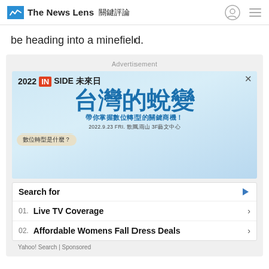The News Lens 關鍵評論
be heading into a minefield.
[Figure (screenshot): Advertisement banner for 2022 INSIDE 未來日 event featuring 台灣的蛻變 (Taiwan's Metamorphosis) with subtitle 帶你掌握數位轉型的關鍵商機！ (Master the key business opportunities of digital transformation!), date 2022.9.23 FRI. 散風雨山 3F藝文中心, and a chat bubble tag 數位轉型是什麼？]
[Figure (screenshot): Yahoo Search sponsored ad box with 'Search for' header and two search results: 01. Live TV Coverage and 02. Affordable Womens Fall Dress Deals]
Yahoo! Search | Sponsored